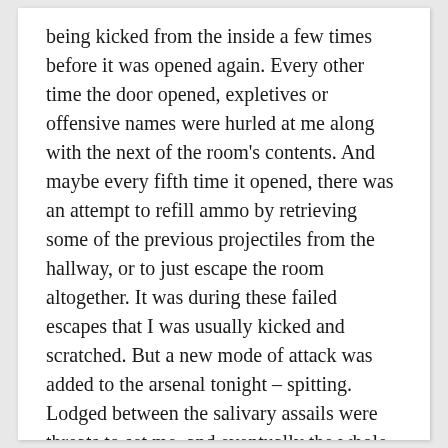being kicked from the inside a few times before it was opened again. Every other time the door opened, expletives or offensive names were hurled at me along with the next of the room's contents. And maybe every fifth time it opened, there was an attempt to refill ammo by retrieving some of the previous projectiles from the hallway, or to just escape the room altogether. It was during these failed escapes that I was usually kicked and scratched. But a new mode of attack was added to the arsenal tonight – spitting. Lodged between the salivary assails were threats to set me, and eventually the whole house, on fire. I mean, that wouldn't be the worst outcome for the evening – at least I wouldn't have to clean up the mess.